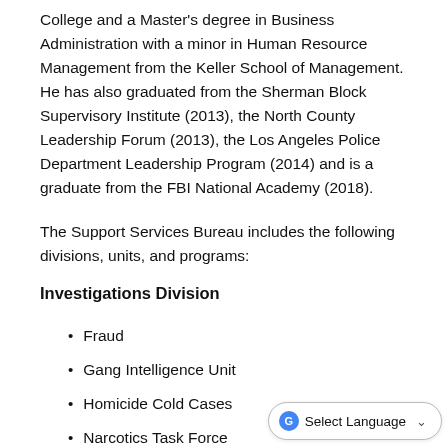College and a Master's degree in Business Administration with a minor in Human Resource Management from the Keller School of Management. He has also graduated from the Sherman Block Supervisory Institute (2013), the North County Leadership Forum (2013), the Los Angeles Police Department Leadership Program (2014) and is a graduate from the FBI National Academy (2018).
The Support Services Bureau includes the following divisions, units, and programs:
Investigations Division
Fraud
Gang Intelligence Unit
Homicide Cold Cases
Narcotics Task Force